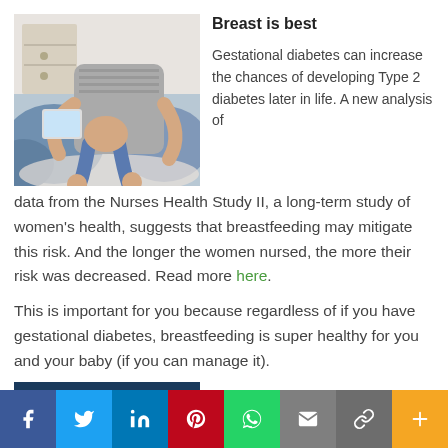[Figure (photo): Mother sitting with baby on lap, looking at a tablet/phone, with blue cushions in background]
Breast is best
Gestational diabetes can increase the chances of developing Type 2 diabetes later in life. A new analysis of data from the Nurses Health Study II, a long-term study of women's health, suggests that breastfeeding may mitigate this risk. And the longer the women nursed, the more their risk was decreased. Read more here.
This is important for you because regardless of if you have gestational diabetes, breastfeeding is super healthy for you and your baby (if you can manage it).
[Figure (photo): Dark blue image (partial, cut off at bottom)]
The most popular article on